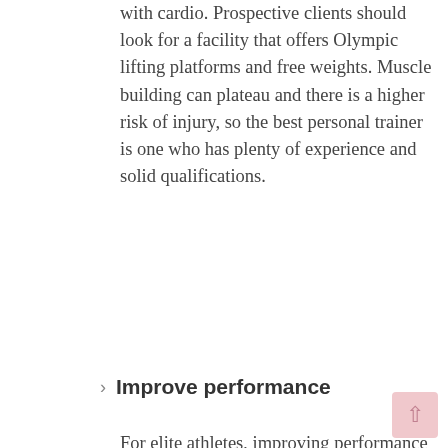with cardio. Prospective clients should look for a facility that offers Olympic lifting platforms and free weights. Muscle building can plateau and there is a higher risk of injury, so the best personal trainer is one who has plenty of experience and solid qualifications.
› Improve performance
[Figure (infographic): Social media sharing icons: Facebook (blue circle), Google+ (red circle), Twitter (blue circle), More/Add (dark circle)]
For elite athletes, improving performance is a common goal. Plyometrics are important to keep fast-twitch muscle fibres active. A varied programme that includes interval training, explosive movements, strength and flexibility is important. The best personal trainer will be one who has been a professional athlete or has a wealth of experience coaching elite athletes.